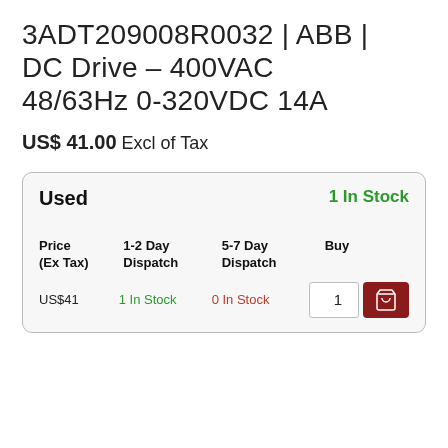3ADT209008R0032 | ABB | DC Drive – 400VAC 48/63Hz 0-320VDC 14A
US$ 41.00 Excl of Tax
| Price (Ex Tax) | 1-2 Day Dispatch | 5-7 Day Dispatch | Buy |
| --- | --- | --- | --- |
| US$41 | 1 In Stock | 0 In Stock | 1 [cart] |